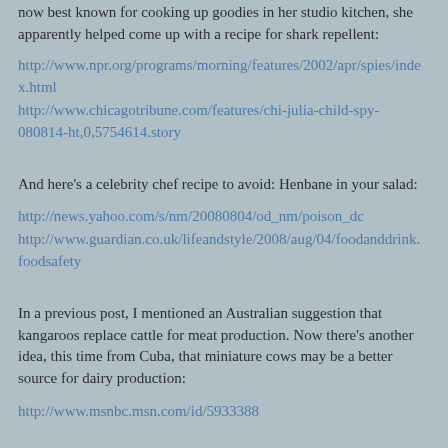now best known for cooking up goodies in her studio kitchen, she apparently helped come up with a recipe for shark repellent:
http://www.npr.org/programs/morning/features/2002/apr/spies/index.html
http://www.chicagotribune.com/features/chi-julia-child-spy-080814-ht,0,5754614.story
And here's a celebrity chef recipe to avoid: Henbane in your salad:
http://news.yahoo.com/s/nm/20080804/od_nm/poison_dc
http://www.guardian.co.uk/lifeandstyle/2008/aug/04/foodanddrink.foodsafety
In a previous post, I mentioned an Australian suggestion that kangaroos replace cattle for meat production. Now there's another idea, this time from Cuba, that miniature cows may be a better source for dairy production:
http://www.msnbc.msn.com/id/5933388